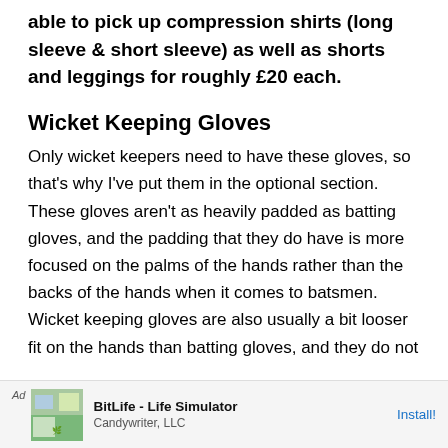able to pick up compression shirts (long sleeve & short sleeve) as well as shorts and leggings for roughly £20 each.
Wicket Keeping Gloves
Only wicket keepers need to have these gloves, so that's why I've put them in the optional section. These gloves aren't as heavily padded as batting gloves, and the padding that they do have is more focused on the palms of the hands rather than the backs of the hands when it comes to batsmen. Wicket keeping gloves are also usually a bit looser fit on the hands than batting gloves, and they do not
[Figure (other): Ad banner: BitLife - Life Simulator by Candywriter, LLC with Install button]